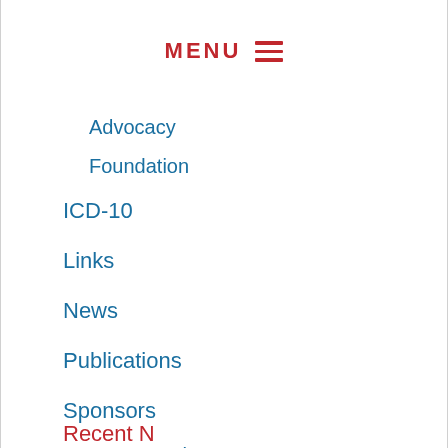MENU ≡
Advocacy
Foundation
ICD-10
Links
News
Publications
Sponsors
Sponsor Showcase
Videos
Recent N…